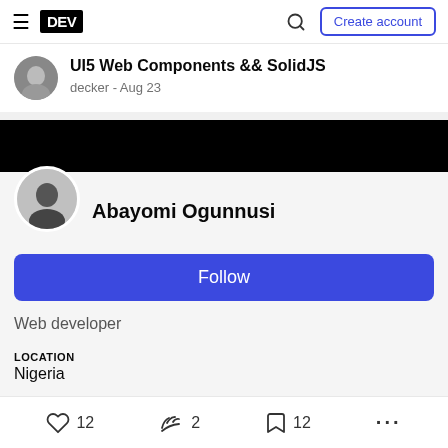DEV — Create account
UI5 Web Components && SolidJS
decker - Aug 23
Abayomi Ogunnusi
Follow
Web developer
LOCATION
Nigeria
WORK
Backend Developer @ snasset.com
12  2  12  ...